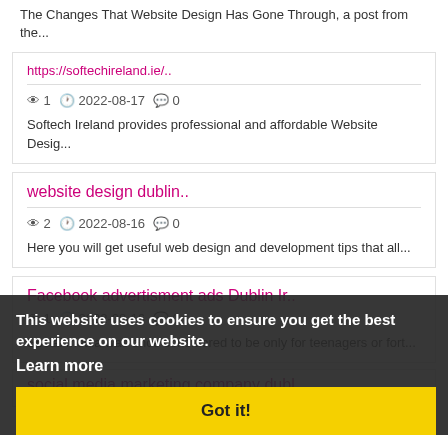The Changes That Website Design Has Gone Through, a post from the...
https://softechireland.ie/.. | 1 | 2022-08-17 | 0 | Softech Ireland provides professional and affordable Website Desig...
website design dublin.. | 2 | 2022-08-16 | 0 | Here you will get useful web design and development tips that all...
Facebook advertisment ads Dublin Ir.. | 1 | 2022-08-16 | 0 | Social media was once considered to be only for teenagers or fort...
social media marketing company dubl..
This website uses cookies to ensure you get the best experience on our website.
Learn more
Got it!